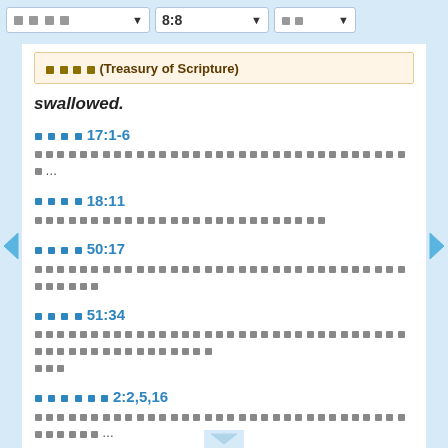Thai Bible app header with dropdowns: [Thai text] 8:8 [Thai text]
[Thai text] (Treasury of Scripture)
swallowed.
[Thai text] 17:1-6
[Thai text]...
[Thai text] 18:11
[Thai text]
[Thai text] 50:17
[Thai text]
[Thai text] 51:34
[Thai text]
[Thai text] 2:2,5,16
[Thai text]...